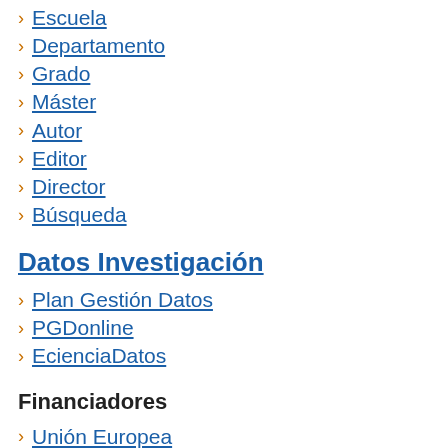Escuela
Departamento
Grado
Máster
Autor
Editor
Director
Búsqueda
Datos Investigación
Plan Gestión Datos
PGDonline
EcienciaDatos
Financiadores
Unión Europea
Gobierno de España